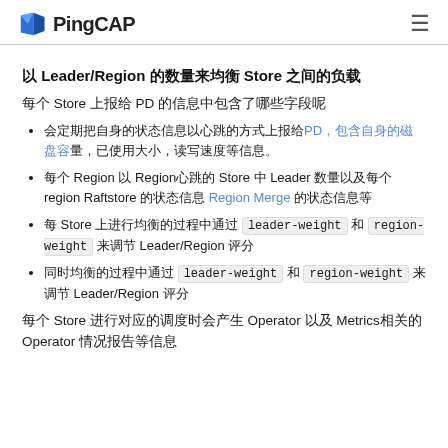PingCAP
以 Leader/Region 的数量来均衡 Store 之间的负载
每个 Store 上报给 PD 的信息中包含了哪些字段呢
会定期把自身的状态信息以心跳的方式上报给PD，包含自身的磁盘容量，已使用大小，读写速度等信息。
每个 Region 以 Region心跳的 Store 中 Leader 数量以及每个region Raftstore 的状态信息 Region Merge 的状态信息等
每 Store 上进行均衡的过程中通过 leader-weight 和 region-weight 来调节 Leader/Region 评分
同时均衡的过程中通过 leader-weight 和 region-weight 来调节 Leader/Region 评分
每个 Store 进行对应的调度时会产生 Operator 以及 Metrics相关的 Operator 情况报告等信息